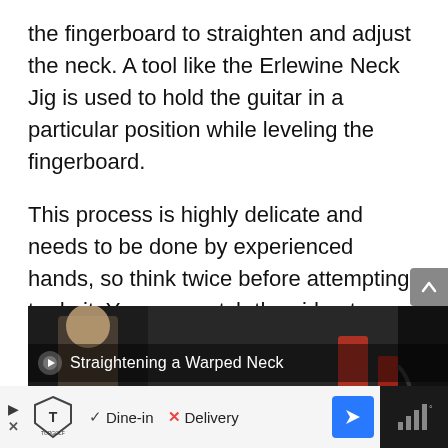the fingerboard to straighten and adjust the neck. A tool like the Erlewine Neck Jig is used to hold the guitar in a particular position while leveling the fingerboard.
This process is highly delicate and needs to be done by experienced hands, so think twice before attempting to do it. You can watch the video to understand the process better.
[Figure (screenshot): Video thumbnail showing a workshop scene with text overlay 'Straightening a Warped Neck' and a play button icon.]
[Figure (other): Advertisement bar for Topgolf showing a play button, Topgolf logo, checkmark for Dine-in, X for Delivery, a blue arrow button, and a dark right panel with signal bars icon.]